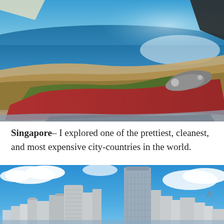[Figure (photo): Aerial view from a small aircraft or hang glider showing a coastline with brown sandy terrain meeting blue ocean water, bright sun reflecting on the sea, with a person's legs visible in green and red pants and sneakers in the foreground]
Singapore– I explored one of the prettiest, cleanest, and most expensive city-countries in the world.
[Figure (photo): Cityscape of Singapore with modern skyscrapers including a cylindrical tower and a tall rectangular glass tower against a bright blue sky with white clouds]